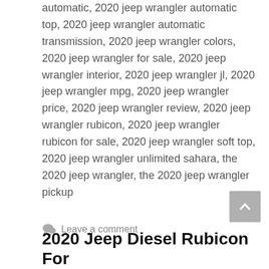automatic, 2020 jeep wrangler automatic top, 2020 jeep wrangler automatic transmission, 2020 jeep wrangler colors, 2020 jeep wrangler for sale, 2020 jeep wrangler interior, 2020 jeep wrangler jl, 2020 jeep wrangler mpg, 2020 jeep wrangler price, 2020 jeep wrangler review, 2020 jeep wrangler rubicon, 2020 jeep wrangler rubicon for sale, 2020 jeep wrangler soft top, 2020 jeep wrangler unlimited sahara, the 2020 jeep wrangler, the 2020 jeep wrangler pickup
Leave a comment
2020 Jeep Diesel Rubicon For